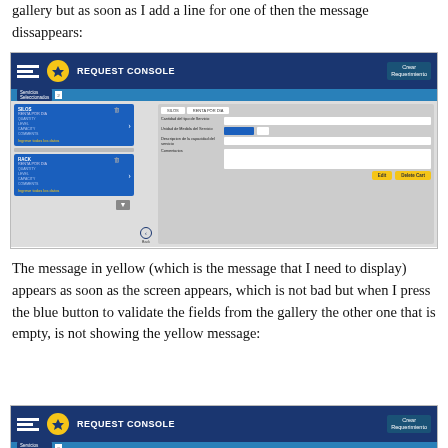gallery but as soon as I add a line for one of then the message dissappears:
[Figure (screenshot): Screenshot of a REQUEST CONSOLE interface showing two service cards (SILOS RENTA POR DIA and RACK RENTA POR DIA) on the left with yellow validation messages 'Ingrese todos los datos', and a form panel on the right with fields: Cantidad del tipo de Servicio, Unidad de Medida del Servicio, Descripcion de la capacidad del servicio, Comentarios, and Edit/Delete Cart buttons.]
The message in yellow (which is the message that I need to display) appears as soon as the screen appears, which is not bad but when I press the blue button to validate the fields from the gallery the other one that is empty, is not showing the yellow message:
[Figure (screenshot): Partial screenshot of the REQUEST CONSOLE interface header, same as above.]